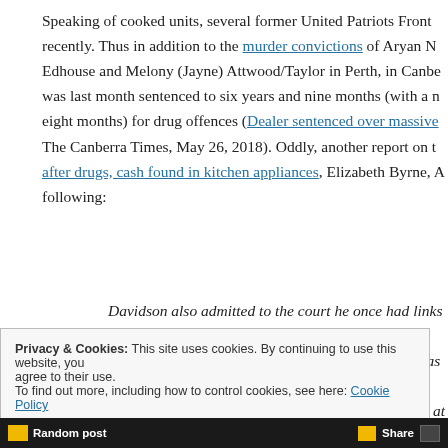Speaking of cooked units, several former United Patriots Front recently. Thus in addition to the murder convictions of Aryan N Edhouse and Melony (Jayne) Attwood/Taylor in Perth, in Canbe was last month sentenced to six years and nine months (with a n eight months) for drug offences (Dealer sentenced over massive The Canberra Times, May 26, 2018). Oddly, another report on t after drugs, cash found in kitchen appliances, Elizabeth Byrne, A following:
Davidson also admitted to the court he once had links to tattoos including a German eagle. But he said he was no because his drug-taking and dealing behaviour was at o was an embarrassment to them," he said.
Privacy & Cookies: This site uses cookies. By continuing to use this website, you agree to their use.
To find out more, including how to control cookies, see here: Cookie Policy
Random post   Share